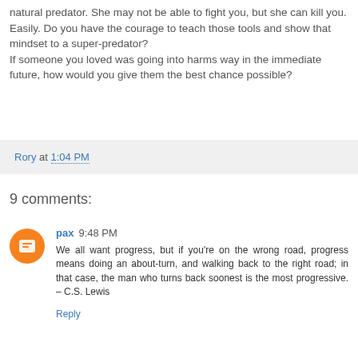natural predator. She may not be able to fight you, but she can kill you. Easily. Do you have the courage to teach those tools and show that mindset to a super-predator?
If someone you loved was going into harms way in the immediate future, how would you give them the best chance possible?
Rory at 1:04 PM
9 comments:
pax 9:48 PM
We all want progress, but if you're on the wrong road, progress means doing an about-turn, and walking back to the right road; in that case, the man who turns back soonest is the most progressive. – C.S. Lewis
Reply